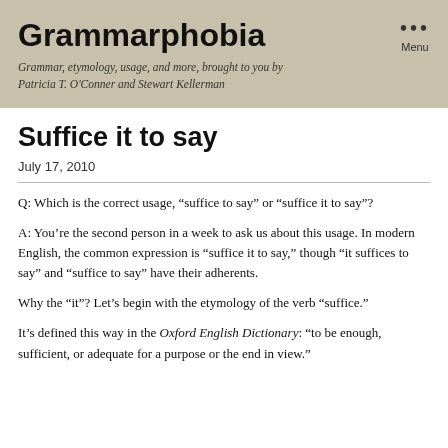Grammarphobia
Grammar, etymology, usage, and more, brought to you by Patricia T. O'Conner and Stewart Kellerman
Suffice it to say
July 17, 2010
Q: Which is the correct usage, “suffice to say” or “suffice it to say”?
A: You’re the second person in a week to ask us about this usage. In modern English, the common expression is “suffice it to say,” though “it suffices to say” and “suffice to say” have their adherents.
Why the “it”? Let’s begin with the etymology of the verb “suffice.”
It’s defined this way in the Oxford English Dictionary: “to be enough, sufficient, or adequate for a purpose or the end in view.”